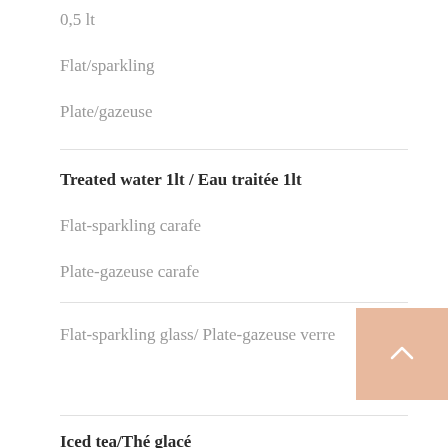0,5 lt
Flat/sparkling
Plate/gazeuse
Treated water 1lt / Eau traitée 1lt
Flat-sparkling carafe
Plate-gazeuse carafe
Flat-sparkling glass/ Plate-gazeuse verre
Iced tea/Thé glacé
To choose a blend please refer to the "Teas